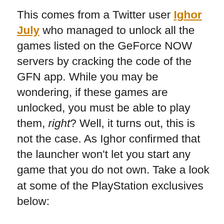This comes from a Twitter user Ighor July who managed to unlock all the games listed on the GeForce NOW servers by cracking the code of the GFN app. While you may be wondering, if these games are unlocked, you must be able to play them, right? Well, it turns out, this is not the case. As Ighor confirmed that the launcher won't let you start any game that you do not own. Take a look at some of the PlayStation exclusives below: